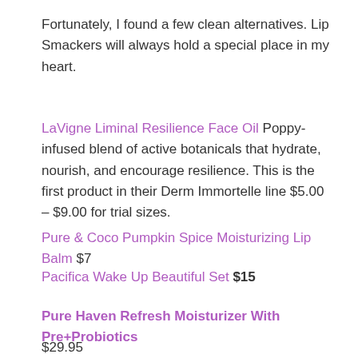Fortunately, I found a few clean alternatives. Lip Smackers will always hold a special place in my heart.
LaVigne Liminal Resilience Face Oil Poppy-infused blend of active botanicals that hydrate, nourish, and encourage resilience. This is the first product in their Derm Immortelle line $5.00 – $9.00 for trial sizes.
Pure & Coco Pumpkin Spice Moisturizing Lip Balm $7
Pacifica Wake Up Beautiful Set $15
Pure Haven Refresh Moisturizer With Pre+Probiotics
$29.95